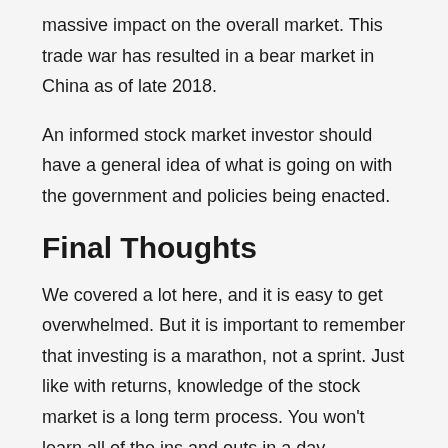massive impact on the overall market. This trade war has resulted in a bear market in China as of late 2018.
An informed stock market investor should have a general idea of what is going on with the government and policies being enacted.
Final Thoughts
We covered a lot here, and it is easy to get overwhelmed. But it is important to remember that investing is a marathon, not a sprint. Just like with returns, knowledge of the stock market is a long term process. You won't learn all of the ins and outs in a day.
Here are some of the most important key points to